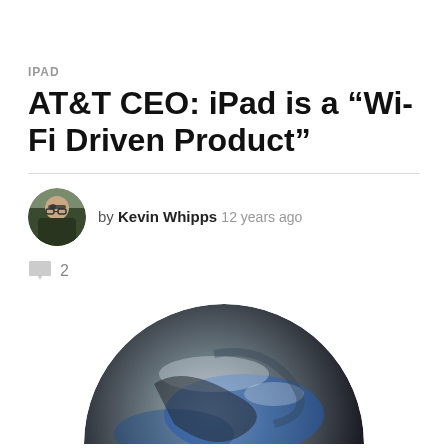IPAD
AT&T CEO: iPad is a “Wi-Fi Driven Product”
by Kevin Whipps 12 years ago
2
[Figure (photo): Circular photo of a globe or sphere with blue and dark tones, partially cropped at bottom of page]